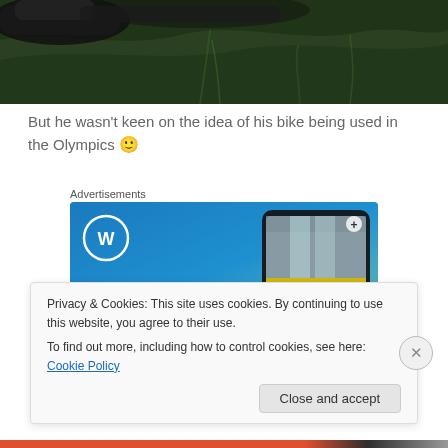[Figure (photo): Close-up photo of bicycle handlebars on grass background]
But he wasn't keen on the idea of his bike being used in the Olympics 🙂
Advertisements
[Figure (screenshot): WordPress advertisement banner with 'Create' text and phone mockup showing 'VISITING SKOGAFOSS']
Privacy & Cookies: This site uses cookies. By continuing to use this website, you agree to their use.
To find out more, including how to control cookies, see here: Cookie Policy